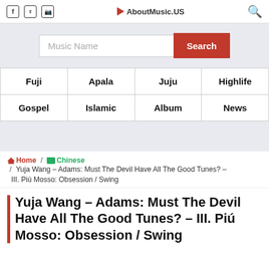f  Twitter  Instagram   ▶ AboutMusic.US   🔍
[Figure (screenshot): Search bar with 'Music Name' placeholder and red Search button]
| Fuji | Apala | Juju | Highlife |
| Gospel | Islamic | Album | News |
🏠 Home / 📁 Chinese / Yuja Wang – Adams: Must The Devil Have All The Good Tunes? – III. Piú Mosso: Obsession / Swing
Yuja Wang – Adams: Must The Devil Have All The Good Tunes? – III. Piú Mosso: Obsession / Swing